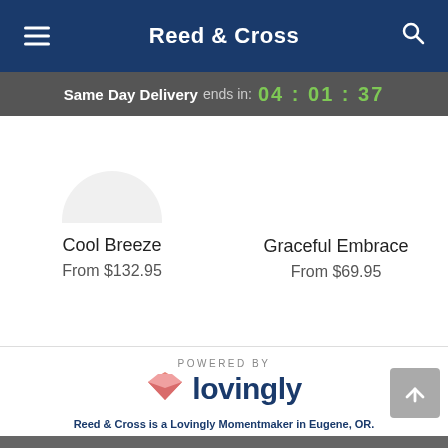Reed & Cross
Same Day Delivery ends in: 04:01:37
Cool Breeze
From $132.95
Graceful Embrace
From $69.95
[Figure (logo): Powered by Lovingly logo with pink heart/envelope icon and dark blue wordmark]
Reed & Cross is a Lovingly Momentmaker in Eugene, OR.
Buying local matters. Discover how Lovingly is committed to strengthening relationships by helping local florists market, sell, and deliver their floral designs online.